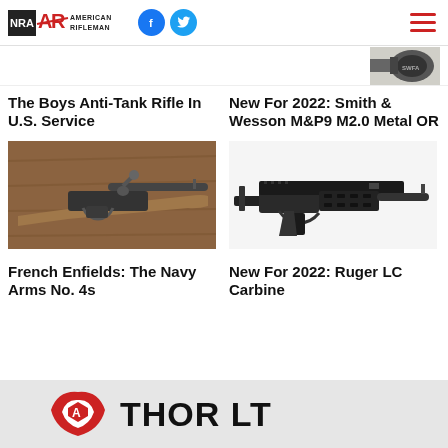NRA American Rifleman
[Figure (photo): Partial image of a firearm/optic at top right]
The Boys Anti-Tank Rifle In U.S. Service
New For 2022: Smith & Wesson M&P9 M2.0 Metal OR
[Figure (photo): Photo of a bolt-action rifle with wooden stock on wooden surface]
[Figure (photo): Photo of a Ruger LC Carbine semi-automatic firearm on white background]
French Enfields: The Navy Arms No. 4s
New For 2022: Ruger LC Carbine
[Figure (logo): ATN THOR LT advertisement banner with red logo]